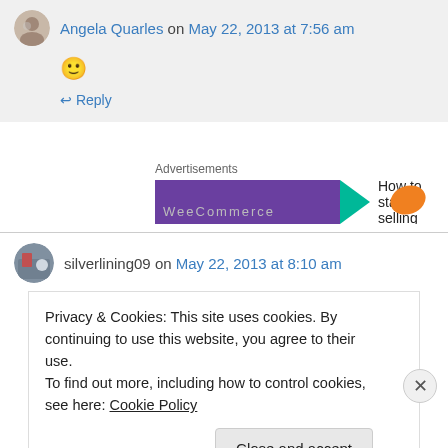Angela Quarles on May 22, 2013 at 7:56 am
🙂
↩ Reply
Advertisements
[Figure (screenshot): Advertisement banner with purple background, teal arrow, and text 'How to start selling' with orange leaf graphic]
silverlining09 on May 22, 2013 at 8:10 am
Privacy & Cookies: This site uses cookies. By continuing to use this website, you agree to their use.
To find out more, including how to control cookies, see here: Cookie Policy
Close and accept